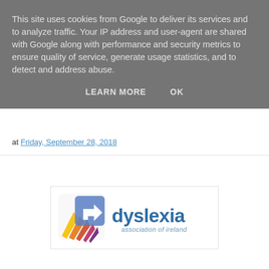This site uses cookies from Google to deliver its services and to analyze traffic. Your IP address and user-agent are shared with Google along with performance and security metrics to ensure quality of service, generate usage statistics, and to detect and address abuse.
LEARN MORE   OK
at Friday, September 28, 2018
[Figure (logo): Dyslexia Association of Ireland logo — colorful arrow-in-square icon on left, 'dyslexia' in blue text on right with 'association of ireland' in smaller grey-blue italic text below]